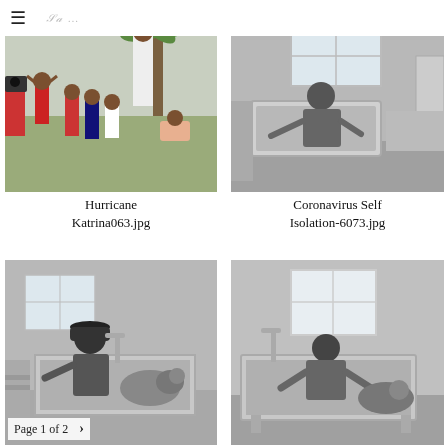☰  [logo signature]
[Figure (photo): Color photo of adults and children playing outdoors near a palm tree, people in casual clothes, one child in a red jacket jumping]
Hurricane Katrina063.jpg
[Figure (photo): Black and white photo of a person working over a large metal tub/sink in a sparse room with a window]
Coronavirus Self Isolation-6073.jpg
[Figure (photo): Black and white photo of a man wearing a cap leaning over a grooming tub with a dog, side view]
[Figure (photo): Black and white photo of a person bent over a grooming tub in a room with a window]
Page 1 of 2  >